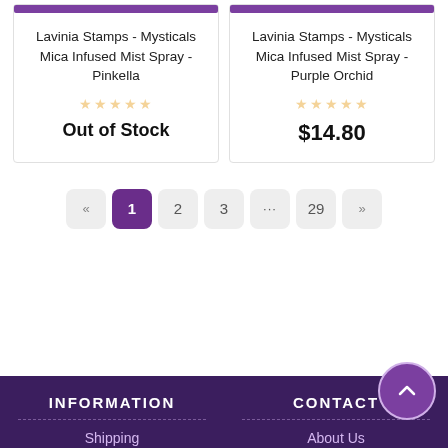Lavinia Stamps - Mysticals Mica Infused Mist Spray - Pinkella
Out of Stock
Lavinia Stamps - Mysticals Mica Infused Mist Spray - Purple Orchid
$14.80
Pagination: « 1 2 3 ... 29 »
INFORMATION
CONTACT
Shipping
About Us